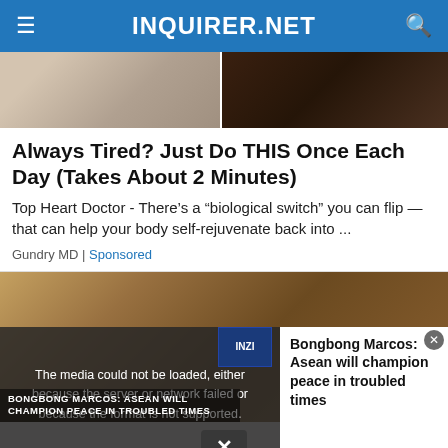INQUIRER.NET
[Figure (photo): Top portion of an article image showing food or objects, cropped at top of page]
Always Tired? Just Do THIS Once Each Day (Takes About 2 Minutes)
Top Heart Doctor - There’s a “biological switch” you can flip — that can help your body self-rejuvenate back into ...
Gundry MD | Sponsored
[Figure (screenshot): A video player showing Bongbong Marcos with a media error overlay and article preview panel on the right]
The media could not be loaded, either because the server or network failed or because the format is not supported.
Bongbong Marcos: Asean will champion peace in troubled times
BONGBONG MARCOS: ASEAN WILL CHAMPION PEACE IN TROUBLED TIMES